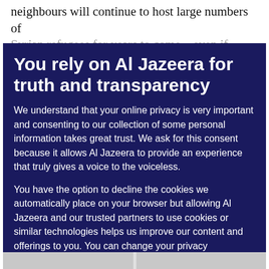neighbours will continue to host large numbers of Syrian refugees for years to come – even if peace
You rely on Al Jazeera for truth and transparency
We understand that your online privacy is very important and consenting to our collection of some personal information takes great trust. We ask for this consent because it allows Al Jazeera to provide an experience that truly gives a voice to the voiceless.
You have the option to decline the cookies we automatically place on your browser but allowing Al Jazeera and our trusted partners to use cookies or similar technologies helps us improve our content and offerings to you. You can change your privacy preferences at any time by selecting 'Cookie preferences' at the bottom of your screen. To learn more, please view our Cookie Policy.